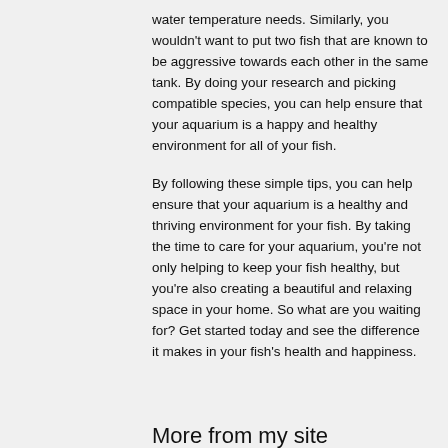water temperature needs. Similarly, you wouldn't want to put two fish that are known to be aggressive towards each other in the same tank. By doing your research and picking compatible species, you can help ensure that your aquarium is a happy and healthy environment for all of your fish.
By following these simple tips, you can help ensure that your aquarium is a healthy and thriving environment for your fish. By taking the time to care for your aquarium, you're not only helping to keep your fish healthy, but you're also creating a beautiful and relaxing space in your home. So what are you waiting for? Get started today and see the difference it makes in your fish's health and happiness.
More from my site